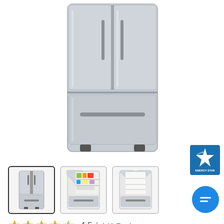[Figure (photo): Front-facing stainless steel French door refrigerator with two upper doors and one bottom freezer drawer]
[Figure (logo): ENERGY STAR certification badge — blue square with white star logo and 'ENERGY STAR' text]
[Figure (photo): Three product thumbnail images: (1) front closed view, (2) open interior view with food, (3) open empty interior view]
4.5 | 141 Reviews
30-inch Wide French D...